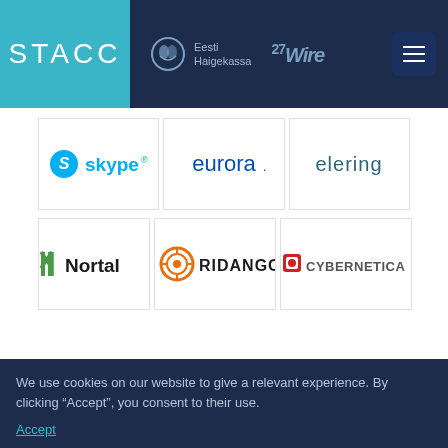[Figure (logo): STACC logo in teal/cyan background with white text]
[Figure (logo): Eesti Haigekassa logo with icon and text]
[Figure (logo): Wire (27Wire) logo in navy header]
[Figure (logo): Skype logo in blue]
[Figure (logo): Eurora logo in blue]
[Figure (logo): Elering logo in teal/dark]
[Figure (logo): Nortal logo with green N icon]
[Figure (logo): Ridango logo with orange circular icon]
[Figure (logo): Cybernetica logo with red icon]
STACCi liikmeks saades, saad
We use cookies on our website to give a relevant experience. By clicking “Accept”, you consent to their use.
Accept